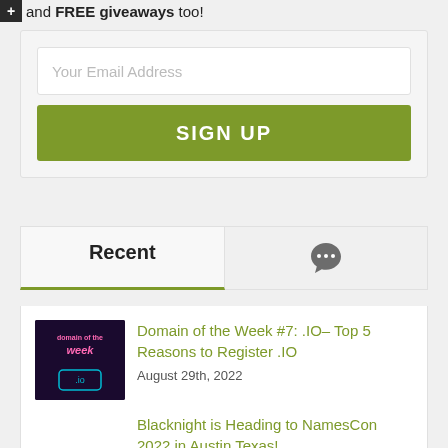and FREE giveaways too!
[Figure (screenshot): Email signup form with input field and SIGN UP button]
Recent
Domain of the Week #7: .IO– Top 5 Reasons to Register .IO — August 29th, 2022
Blacknight is Heading to NamesCon 2022 in Austin Texas!